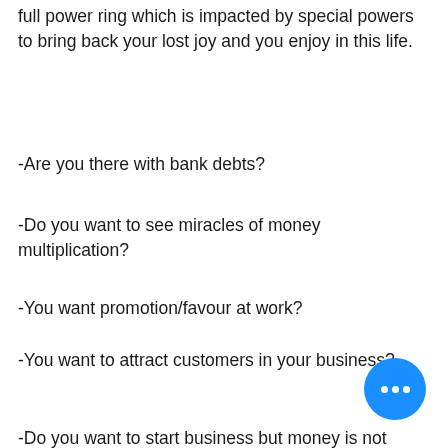full power ring which is impacted by special powers to bring back your lost joy and you enjoy in this life.
-Are you there with bank debts?
-Do you want to see miracles of money multiplication?
-You want promotion/favour at work?
-You want to attract customers in your business?
-Do you want to start business but money is not enough?
-Do you have financial problems?
-Do you have relationship/marriage problems?
-Are you impotent?
[Figure (other): Blue circular chat button with three white dots]